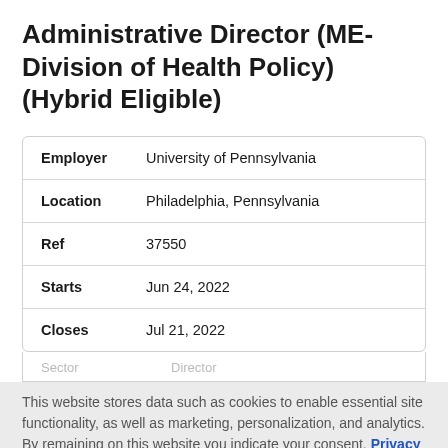Administrative Director (ME-Division of Health Policy) (Hybrid Eligible)
| Field | Value |
| --- | --- |
| Employer | University of Pennsylvania |
| Location | Philadelphia, Pennsylvania |
| Ref | 37550 |
| Starts | Jun 24, 2022 |
| Closes | Jul 21, 2022 |
Sector    Director
This website stores data such as cookies to enable essential site functionality, as well as marketing, personalization, and analytics. By remaining on this website you indicate your consent. Privacy Policy